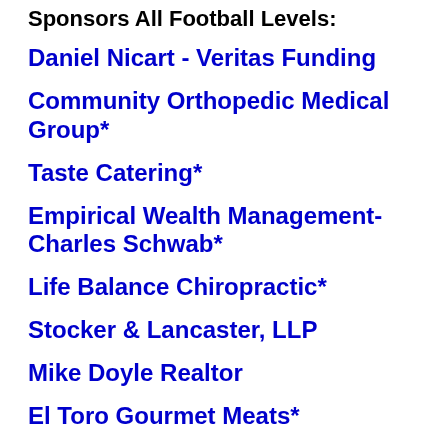Sponsors All Football Levels:
Daniel Nicart - Veritas Funding
Community Orthopedic Medical Group*
Taste Catering*
Empirical Wealth Management-Charles Schwab*
Life Balance Chiropractic*
Stocker & Lancaster, LLP
Mike Doyle Realtor
El Toro Gourmet Meats*